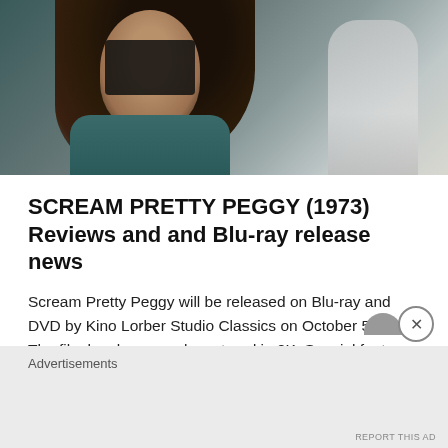[Figure (photo): A person wearing a dark mask and teal/dark patterned top, with long dark hair, photographed from the chest up. Background shows another figure in lighter clothing.]
SCREAM PRETTY PEGGY (1973) Reviews and and Blu-ray release news
Scream Pretty Peggy will be released on Blu-ray and DVD by Kino Lorber Studio Classics on October 5, 2021. The film has been newly restored in 2K. Special features: Audio ...
READ MORE
Advertisements